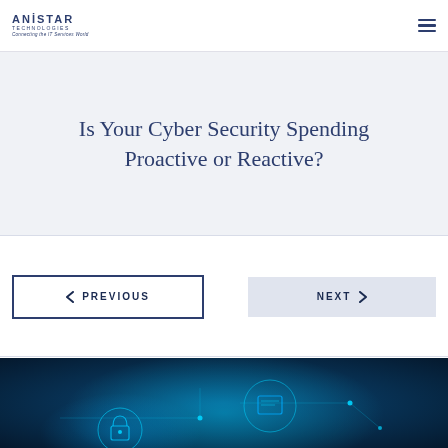ANISTAR TECHNOLOGIES — Connecting the IT Services World
Is Your Cyber Security Spending Proactive or Reactive?
PREVIOUS
NEXT
[Figure (photo): Cybersecurity themed image with glowing digital icons on a dark blue background, including a padlock and monitor/connection diagrams]